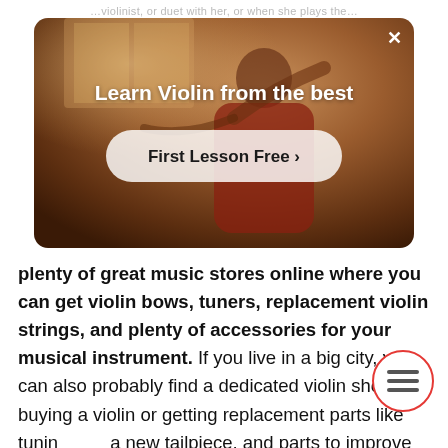…violinist, or duet with her, or when she plays the…
[Figure (photo): Advertisement banner showing a person playing violin, with text 'Learn Violin from the best' and a 'First Lesson Free >' button]
plenty of great music stores online where you can get violin bows, tuners, replacement violin strings, and plenty of accessories for your musical instrument. If you live in a big city, you can also probably find a dedicated violin shop for buying a violin or getting replacement parts like tuning pegs, a new tailpiece, and parts to improve the playability of your instrument.